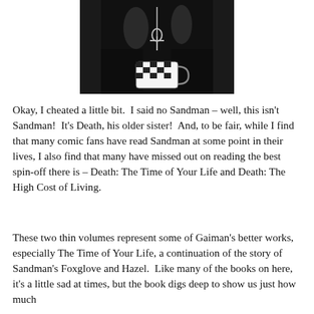[Figure (illustration): Black and white comic illustration of Death character from Sandman, wearing a black outfit with an ankh necklace, holding a teacup with a checkered pattern.]
Okay, I cheated a little bit.  I said no Sandman – well, this isn't Sandman!  It's Death, his older sister!  And, to be fair, while I find that many comic fans have read Sandman at some point in their lives, I also find that many have missed out on reading the best spin-off there is – Death: The Time of Your Life and Death: The High Cost of Living.
These two thin volumes represent some of Gaiman's better works, especially The Time of Your Life, a continuation of the story of Sandman's Foxglove and Hazel.  Like many of the books on here, it's a little sad at times, but the book digs deep to show us just how much